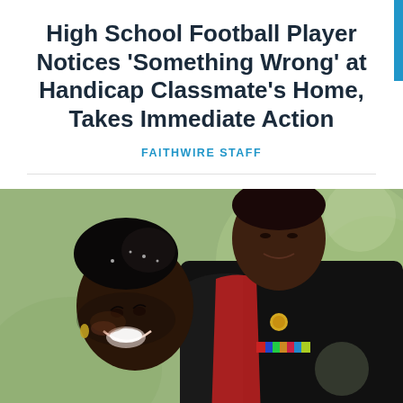High School Football Player Notices 'Something Wrong' at Handicap Classmate's Home, Takes Immediate Action
FAITHWIRE STAFF
[Figure (photo): A smiling woman in formal attire with a black hair accessory and veil, touching foreheads with a man in a US Marine dress uniform (black with red trim, medals and insignia). They appear to be a couple at a formal or wedding event, photographed outdoors with a blurred green background.]